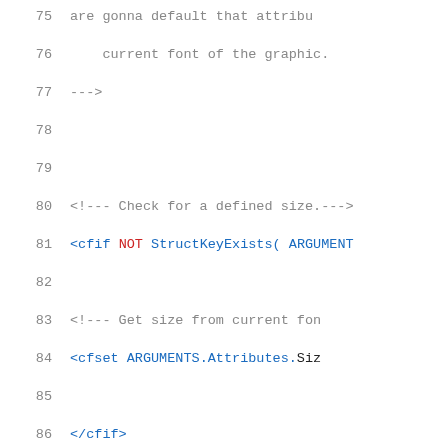Code listing lines 75-92, ColdFusion/HTML template source code
75: are gonna default that attribu
76:     current font of the graphic.
77: --->
78: (blank)
79: (blank)
80: <!--- Check for a defined size.--->
81: <cfif NOT StructKeyExists( ARGUMENT
82: (blank)
83: <!--- Get size from current fon
84: <cfset ARGUMENTS.Attributes.Siz
85: (blank)
86: </cfif>
87: (blank)
88: (blank)
89: <!--- Check for a defined font. ---
90: <cfif NOT StructKeyExists( ARGUMENT
91: (blank)
92: <cfset ARGUMENTS.Attributes.Fon